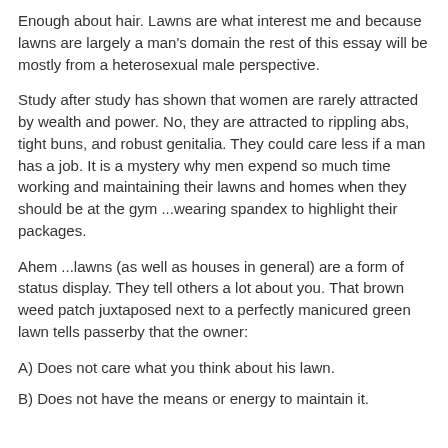Enough about hair. Lawns are what interest me and because lawns are largely a man's domain the rest of this essay will be mostly from a heterosexual male perspective.
Study after study has shown that women are rarely attracted by wealth and power. No, they are attracted to rippling abs, tight buns, and robust genitalia. They could care less if a man has a job. It is a mystery why men expend so much time working and maintaining their lawns and homes when they should be at the gym ...wearing spandex to highlight their packages.
Ahem ...lawns (as well as houses in general) are a form of status display. They tell others a lot about you. That brown weed patch juxtaposed next to a perfectly manicured green lawn tells passerby that the owner:
A) Does not care what you think about his lawn.
B) Does not have the means or energy to maintain it.